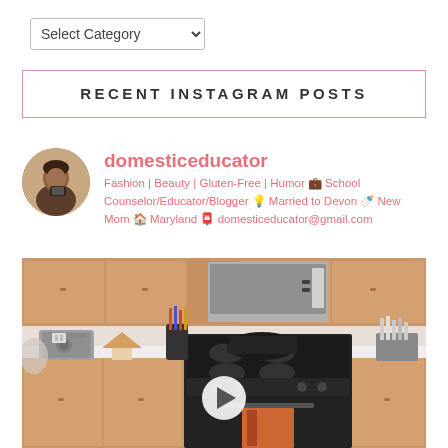Select Category
RECENT INSTAGRAM POSTS
domesticeducator
Fashion | Beauty | Gluten-Free | Humor 💼 School Counselor/Educator/Blogger 💡 Married to Devon 🍼 New Mom 🏠 Maryland 📮 domesticeducator@gmail.com
[Figure (photo): Kitchen scene showing a black gas stove with a pot on it, wood cabinets, stainless steel microwave above, toaster, knife block, and utensil holder. A video play button is overlaid at the bottom center.]